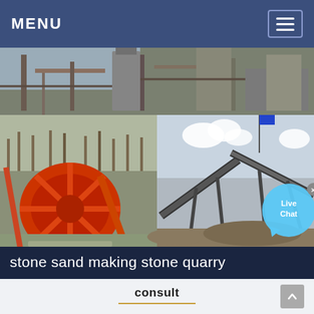MENU
[Figure (photo): Collage of three quarry/stone crushing and sand-making machinery photos: top strip shows industrial facility with conveyors and silos; bottom-left shows a large red sand-washing wheel machine; bottom-right shows stone crushing conveyor equipment on a gravel site with 'Live Chat' bubble overlay.]
stone sand making stone quarry
consult
Photos Of The Old Marble Quarry Sand Making Stone Quarry. Stone crushers sand making stone quarry sep 13 2016 stone quarry plant is the complete stone crushing and screening plant used